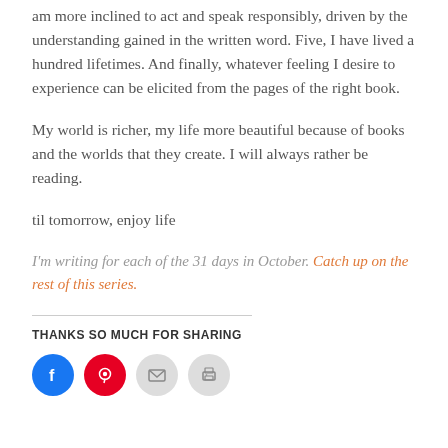am more inclined to act and speak responsibly, driven by the understanding gained in the written word. Five, I have lived a hundred lifetimes.  And finally, whatever feeling I desire to experience can be elicited from the pages of the right book.
My world is richer, my life more beautiful because of books and the worlds that they create. I will always rather be reading.
til tomorrow, enjoy life
I’m writing for each of the 31 days in October. Catch up on the rest of this series.
THANKS SO MUCH FOR SHARING
[Figure (other): Social sharing buttons: Facebook (blue circle), Pinterest (red circle), Email (grey circle), Print (grey circle)]